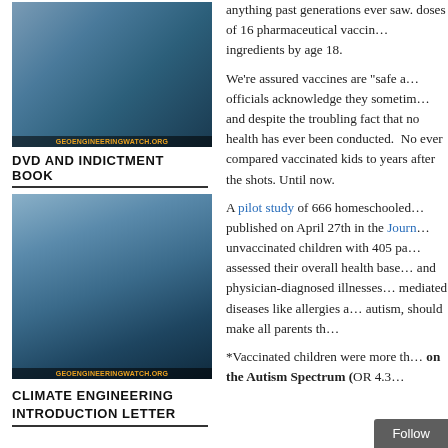[Figure (photo): Stack of DVD cases and materials from GeoEngineeringWatch.org]
DVD AND INDICTMENT BOOK
[Figure (photo): DVD and book package from GeoEngineeringWatch.org with text GEOENGINEERINGWATCH.ORG at the bottom]
CLIMATE ENGINEERING INTRODUCTION LETTER
anything past generations ever saw. doses of 16 pharmaceutical vaccine ingredients by age 18.
We’re assured vaccines are “safe and effective” even though officials acknowledge they sometimes cause serious injury and death, and despite the troubling fact that no study of vaccinated children’s health has ever been conducted. No study has ever compared vaccinated kids to unvaccinated kids for years after the shots. Until now.
A pilot study of 666 homeschooled children published on April 27th in the Journ unvaccinated children with 405 partially assessed their overall health based on and physician-diagnosed illnesses. mediated diseases like allergies and autism, should make all parents th
*Vaccinated children were more th on the Autism Spectrum (OR 4.3